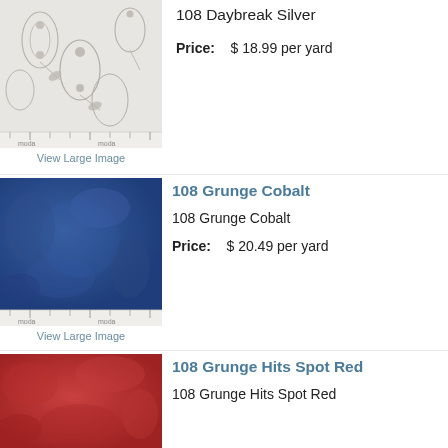[Figure (photo): Fabric swatch of 108 Daybreak Silver — light gray/white fabric with gray floral pattern, with a ruler/measure strip at the bottom]
108 Daybreak Silver
Price: $ 18.99 per yard
View Large Image
[Figure (photo): Fabric swatch of 108 Grunge Cobalt — solid cobalt/navy blue fabric with grunge texture, with a ruler/measure strip at the bottom]
108 Grunge Cobalt
108 Grunge Cobalt
Price: $ 20.49 per yard
View Large Image
[Figure (photo): Fabric swatch of 108 Grunge Hits Spot Red — red fabric with grunge texture, partially visible]
108 Grunge Hits Spot Red
108 Grunge Hits Spot Red